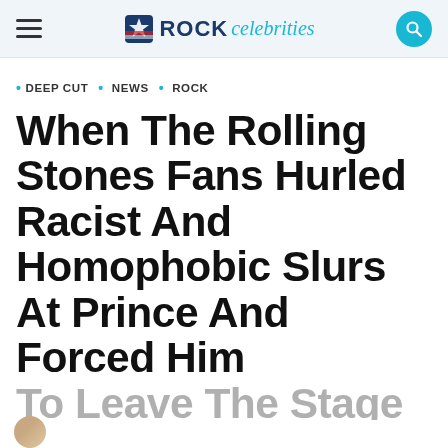ROCK celebrities
DEEP CUT · NEWS · ROCK
When The Rolling Stones Fans Hurled Racist And Homophobic Slurs At Prince And Forced Him To Leave The Stage